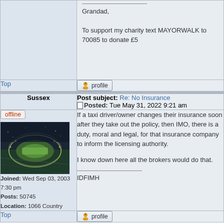Grandad,

To support my charity text MAYORWALK to 70085 to donate £5
Top
profile
Sussex
Post subject: Re: No Insurance
Posted: Tue May 31, 2022 9:21 am
offline
[Figure (photo): Aerial night-time photo of a large stadium lit up, surrounded by roads and city lights]
Joined: Wed Sep 03, 2003 7:30 pm
Posts: 50745
Location: 1066 Country
If a taxi driver/owner changes their insurance soon after they take out the policy, then IMO, there is a duty, moral and legal, for that insurance company to inform the licensing authority.

I know down here all the brokers would do that.

IDFIMH
Top
profile